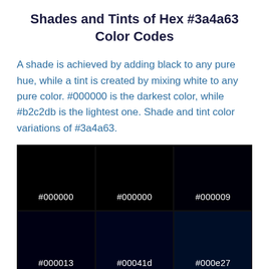Shades and Tints of Hex #3a4a63 Color Codes
A shade is achieved by adding black to any pure hue, while a tint is created by mixing white to any pure color. #000000 is the darkest color, while #b2c2db is the lightest one. Shade and tint color variations of #3a4a63.
[Figure (other): A grid of color swatches showing shades of hex #3a4a63. Row 1: #000000, #000000, #000009 (all near-black). Row 2: #000013, #00041d, #000e27 (very dark navy). Partial row 3 partially visible at bottom.]